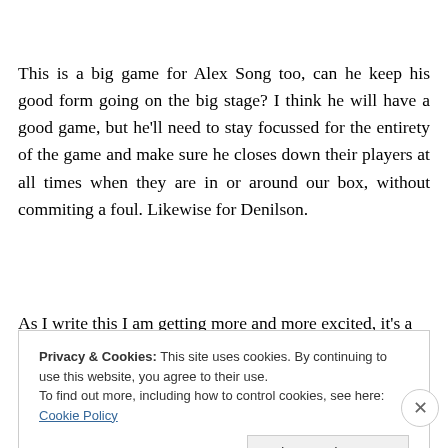This is a big game for Alex Song too, can he keep his good form going on the big stage? I think he will have a good game, but he'll need to stay focussed for the entirety of the game and make sure he closes down their players at all times when they are in or around our box, without commiting a foul. Likewise for Denilson.
As I write this I am getting more and more excited, it's a
Privacy & Cookies: This site uses cookies. By continuing to use this website, you agree to their use.
To find out more, including how to control cookies, see here: Cookie Policy
Close and accept